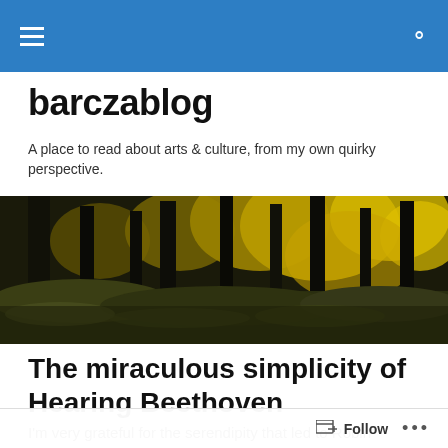barczablog navigation header
barczablog
A place to read about arts & culture, from my own quirky perspective.
[Figure (photo): Forest scene with tall dark tree trunks, mossy ground, and autumn yellow foliage in background]
The miraculous simplicity of Hearing Beethoven
I'm very grateful for the serendipity that led to Robin
Follow